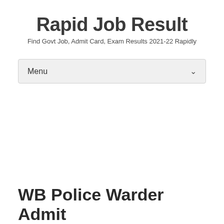Rapid Job Result
Find Govt Job, Admit Card, Exam Results 2021-22 Rapidly
Menu
WB Police Warder Admit